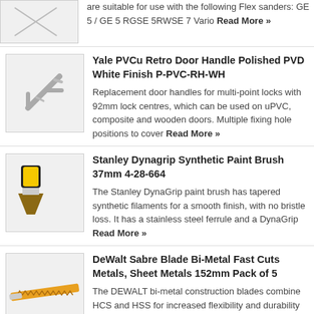are suitable for use with the following Flex sanders: GE 5 / GE 5 RGSE 5RWSE 7 Vario Read More »
Yale PVCu Retro Door Handle Polished PVD White Finish P-PVC-RH-WH
Replacement door handles for multi-point locks with 92mm lock centres, which can be used on uPVC, composite and wooden doors. Multiple fixing hole positions to cover Read More »
[Figure (photo): Yale PVCu door handle, silver/chrome finish, shown at an angle]
Stanley Dynagrip Synthetic Paint Brush 37mm 4-28-664
The Stanley DynaGrip paint brush has tapered synthetic filaments for a smooth finish, with no bristle loss. It has a stainless steel ferrule and a DynaGrip Read More »
[Figure (photo): Stanley Dynagrip paint brush with yellow and black handle]
DeWalt Sabre Blade Bi-Metal Fast Cuts Metals, Sheet Metals 152mm Pack of 5
The DEWALT bi-metal construction blades combine HCS and HSS for increased flexibility and durability with universal shank which fits all major brands including DEWALT, Bosch, Hitachi, Read
[Figure (photo): DeWalt sabre blade, gold/orange colored bi-metal saw blade]